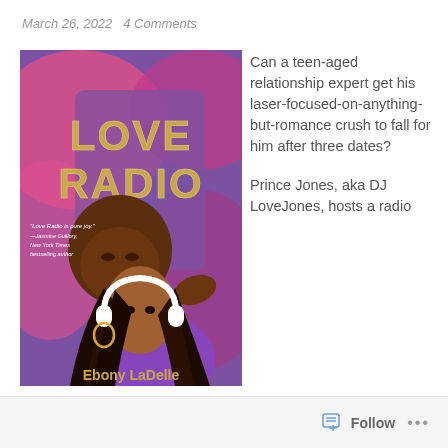March 26, 2022   4 Comments
[Figure (illustration): Book cover of 'Love Radio' by Ebony LaDelle. Colorful illustrated cover with purple, pink, magenta background. Two young Black people lie together — a young man with a beard at the top and a young woman wearing white headphones and gold hoop earrings in the foreground wearing a purple top. The title 'LOVE RADIO' is displayed in large gold lettering at the top. A quote reads 'Love Radio is pure joy.' —Jasmine Guillory, New York Times bestselling author. Author name 'Ebony LaDelle' at the bottom.]
Can a teen-aged relationship expert get his laser-focused-on-anything-but-romance crush to fall for him after three dates?

Prince Jones, aka DJ LoveJones, hosts a radio
Follow   ...